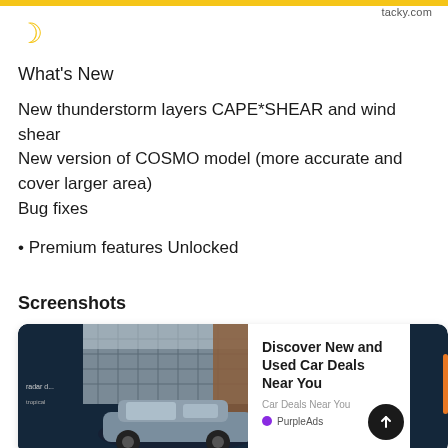tacky.com
[Figure (illustration): Yellow crescent moon icon]
What's New
New thunderstorm layers CAPE*SHEAR and wind shear
New version of COSMO model (more accurate and cover larger area)
Bug fixes
• Premium features Unlocked
Screenshots
[Figure (screenshot): App screenshot showing a car advertisement with 'Discover New and Used Car Deals Near You' by PurpleAds, with a dark blue UI and a photo of a grey sedan in front of a building]